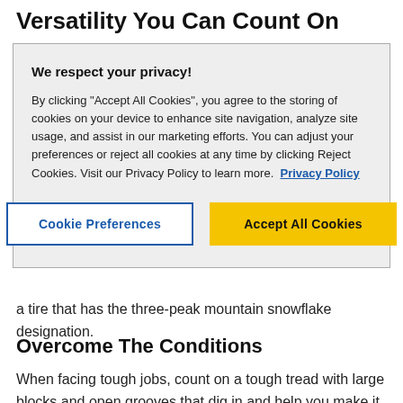Versatility You Can Count On
[Figure (screenshot): Cookie consent overlay dialog with 'We respect your privacy!' heading, privacy policy text, a link labeled 'Privacy Policy', and two buttons: 'Cookie Preferences' (outlined) and 'Accept All Cookies' (yellow filled).]
a tire that has the three-peak mountain snowflake designation.
Overcome The Conditions
When facing tough jobs, count on a tough tread with large blocks and open grooves that dig in and help you make it through the day.